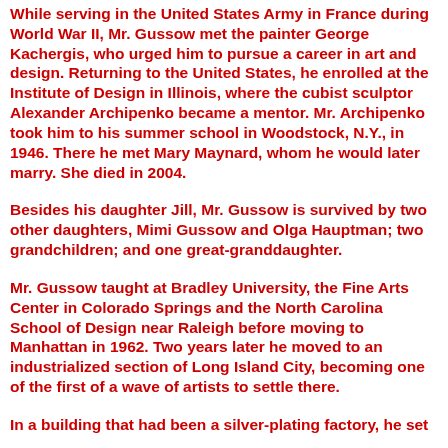While serving in the United States Army in France during World War II, Mr. Gussow met the painter George Kachergis, who urged him to pursue a career in art and design. Returning to the United States, he enrolled at the Institute of Design in Illinois, where the cubist sculptor Alexander Archipenko became a mentor. Mr. Archipenko took him to his summer school in Woodstock, N.Y., in 1946. There he met Mary Maynard, whom he would later marry. She died in 2004.
Besides his daughter Jill, Mr. Gussow is survived by two other daughters, Mimi Gussow and Olga Hauptman; two grandchildren; and one great-granddaughter.
Mr. Gussow taught at Bradley University, the Fine Arts Center in Colorado Springs and the North Carolina School of Design near Raleigh before moving to Manhattan in 1962. Two years later he moved to an industrialized section of Long Island City, becoming one of the first of a wave of artists to settle there.
In a building that had been a silver-plating factory, he set